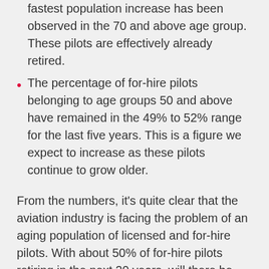fastest population increase has been observed in the 70 and above age group. These pilots are effectively already retired.
The percentage of for-hire pilots belonging to age groups 50 and above have remained in the 49% to 52% range for the last five years. This is a figure we expect to increase as these pilots continue to grow older.
From the numbers, it's quite clear that the aviation industry is facing the problem of an aging population of licensed and for-hire pilots. With about 50% of for-hire pilots retiring in the next 20 years, will there be enough trainees to take their place?